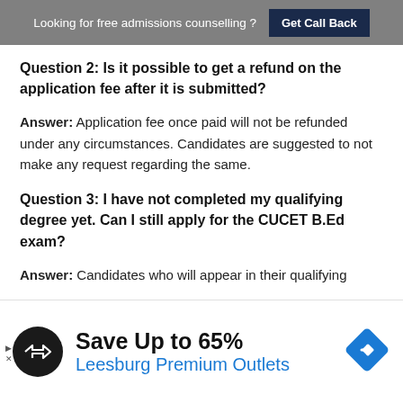Looking for free admissions counselling ? Get Call Back
Question 2: Is it possible to get a refund on the application fee after it is submitted?
Answer: Application fee once paid will not be refunded under any circumstances. Candidates are suggested to not make any request regarding the same.
Question 3: I have not completed my qualifying degree yet. Can I still apply for the CUCET B.Ed exam?
Answer: Candidates who will appear in their qualifying
[Figure (infographic): Advertisement banner: Save Up to 65% Leesburg Premium Outlets with a black circular logo icon and a blue diamond arrow icon]